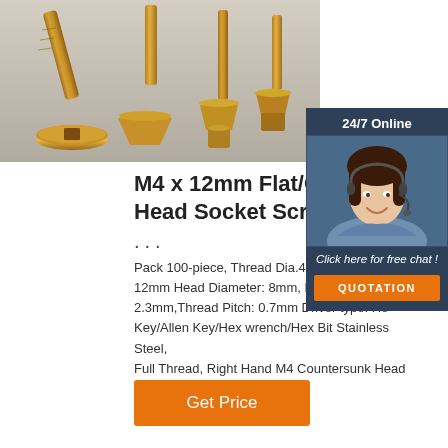[Figure (photo): Close-up photo of gold/brass colored countersunk flat head socket screws, showing the square drive recess on the heads and the tapered countersunk profile, arranged on a gray surface.]
M4 x 12mm Flat/Counters Head Socket Screws,Stai ...
...
Pack 100-piece, Thread Dia.4mm, Screw Length: 12mm Head Diameter: 8mm, Head Height: 2.3mm,Thread Pitch: 0.7mm Driver type: Hex Key/Allen Key/Hex wrench/Hex Bit Stainless Steel, Full Thread, Right Hand M4 Countersunk Head Socket Machine Screws
Get Price